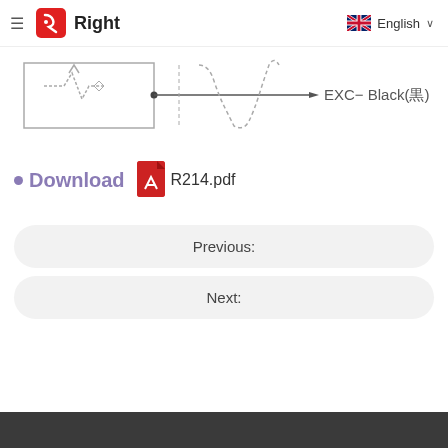Right (logo) | English
[Figure (schematic): Circuit/wiring schematic diagram showing signal path with waveform symbols and label EXC- Black(黒)]
Download  R214.pdf
Previous:
Next: